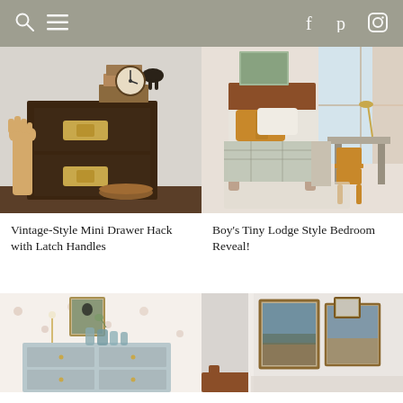navigation bar with search, menu, facebook, pinterest, instagram icons
[Figure (photo): Vintage-style dark wood mini drawer chest with brass latch handles, wooden hand mannequin, clock, horse figurine, and small books on top]
[Figure (photo): Boy's lodge style bedroom with wooden bed frame, orange/mustard yellow pillow, plaid blanket, yellow school chair, desk by window]
Vintage-Style Mini Drawer Hack with Latch Handles
Boy’s Tiny Lodge Style Bedroom Reveal!
[Figure (photo): Light blue dresser with floral wallpaper background, glass bottles, framed artwork, and a candle holder]
[Figure (photo): Framed landscape paintings leaning against a white wall, part of a wooden bed frame visible]